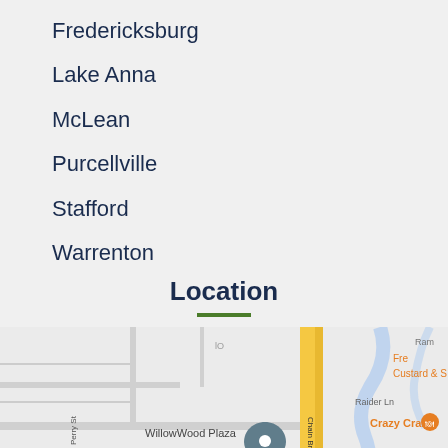Fredericksburg
Lake Anna
McLean
Purcellville
Stafford
Warrenton
Location
[Figure (map): Google Maps view showing WillowWood Plaza area with Chain Bridge Rd, Raider Ln, Amazon Fresh, Red Lobster, Crazy Crab, and a location pin marker. Includes a green phone call button and 'Call Now!' badge overlay.]